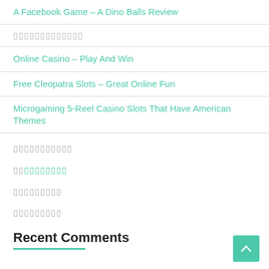A Facebook Game – A Dino Balls Review
▯▯▯▯▯▯▯▯▯▯▯▯▯
Online Casino – Play And Win
Free Cleopatra Slots – Great Online Fun
Microgaming 5-Reel Casino Slots That Have American Themes
▯▯▯▯▯▯▯▯▯▯▯
▯▯▯▯▯▯▯▯▯▯
▯▯▯▯▯▯▯▯▯
▯▯▯▯▯▯▯▯▯
Recent Comments